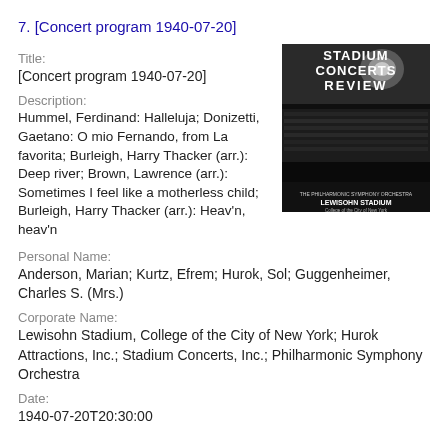7. [Concert program 1940-07-20]
Title:
[Concert program 1940-07-20]
[Figure (photo): Cover of Stadium Concerts Review magazine showing Lewisohn Stadium, College of the City of New York, with The Philharmonic Symphony Orchestra. Black and white image of a large outdoor stadium filled with audience.]
Description:
Hummel, Ferdinand: Halleluja; Donizetti, Gaetano: O mio Fernando, from La favorita; Burleigh, Harry Thacker (arr.): Deep river; Brown, Lawrence (arr.): Sometimes I feel like a motherless child; Burleigh, Harry Thacker (arr.): Heav'n, heav'n
Personal Name:
Anderson, Marian; Kurtz, Efrem; Hurok, Sol; Guggenheimer, Charles S. (Mrs.)
Corporate Name:
Lewisohn Stadium, College of the City of New York; Hurok Attractions, Inc.; Stadium Concerts, Inc.; Philharmonic Symphony Orchestra
Date:
1940-07-20T20:30:00